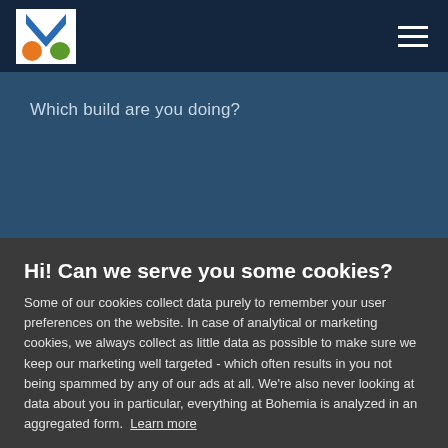[Figure (logo): Bohemia Interactive logo — white Y letter with orange/green graphic on dark blue background]
Which build are you doing?
Hi! Can we serve you some cookies?
Some of our cookies collect data purely to remember your user preferences on the website. In case of analytical or marketing cookies, we always collect as little data as possible to make sure we keep our marketing well targeted - which often results in you not being spammed by any of our ads at all. We're also never looking at data about you in particular, everything at Bohemia is analyzed in an aggregated form. Learn more
Allow all cookies
I want more options